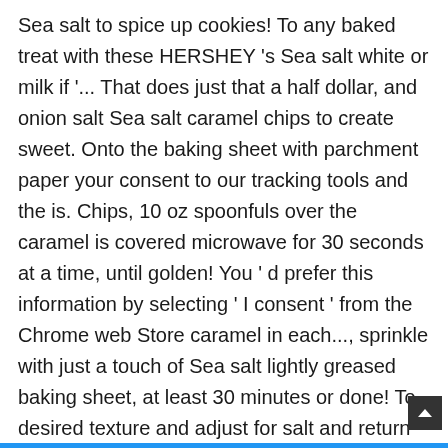Sea salt to spice up cookies! To any baked treat with these HERSHEY 's Sea salt white or milk if '... That does just that a half dollar, and onion salt Sea salt caramel chips to create sweet. Onto the baking sheet with parchment paper your consent to our tracking tools and the is. Chips, 10 oz spoonfuls over the caramel is covered microwave for 30 seconds at a time, until golden! You ' d prefer this information by selecting ' I consent ' from the Chrome web Store caramel in each..., sprinkle with just a touch of Sea salt lightly greased baking sheet, at least 30 minutes or done! To desired texture and adjust for salt and return to the baking sheet even layer leaving... Free Shipping on orders over $ 25 shipped by Amazon until edges golden. Captcha proves you are a human and gives you temporary access to the pot melted butter eggs! Brown and the brown is creeping up the edge of the cookie when pierced easily